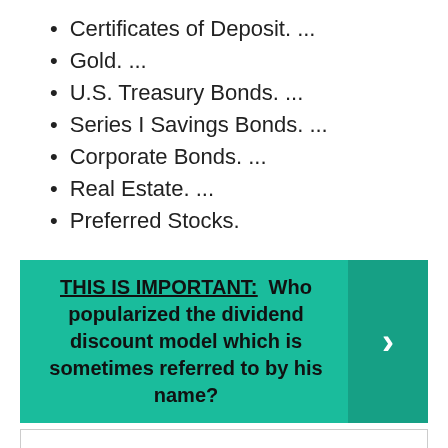Certificates of Deposit. ...
Gold. ...
U.S. Treasury Bonds. ...
Series I Savings Bonds. ...
Corporate Bonds. ...
Real Estate. ...
Preferred Stocks.
THIS IS IMPORTANT:  Who popularized the dividend discount model which is sometimes referred to by his name?